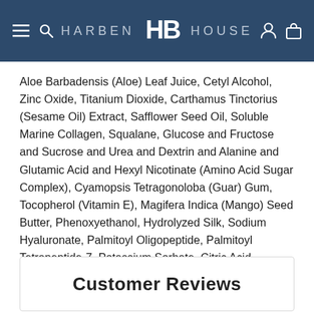HARBEN HOUSE
Aloe Barbadensis (Aloe) Leaf Juice, Cetyl Alcohol, Zinc Oxide, Titanium Dioxide, Carthamus Tinctorius (Sesame Oil) Extract, Safflower Seed Oil, Soluble Marine Collagen, Squalane, Glucose and Fructose and Sucrose and Urea and Dextrin and Alanine and Glutamic Acid and Hexyl Nicotinate (Amino Acid Sugar Complex), Cyamopsis Tetragonoloba (Guar) Gum, Tocopherol (Vitamin E), Magifera Indica (Mango) Seed Butter, Phenoxyethanol, Hydrolyzed Silk, Sodium Hyaluronate, Palmitoyl Oligopeptide, Palmitoyl Tetrapeptide-7, Potassium Sorbate, Citric Acid.
Customer Reviews